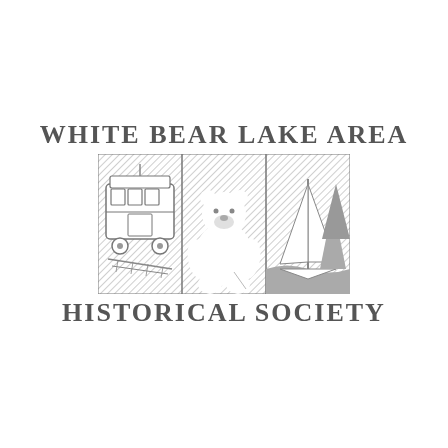[Figure (logo): White Bear Lake Area Historical Society logo featuring three side-by-side hatched square panels: left panel shows a vintage streetcar/trolley, center panel shows a polar bear, right panel shows a sailboat. Above the panels is the text 'WHITE BEAR LAKE AREA' and below is 'HISTORICAL SOCIETY', both in bold serif capitals with letter-spacing.]